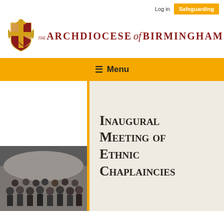Log in | Safeguarding
[Figure (logo): The Archdiocese of Birmingham logo with coat of arms and text]
Menu
[Figure (photo): Group photo of people at the inaugural meeting of ethnic chaplaincies]
Inaugural Meeting of Ethnic Chaplaincies